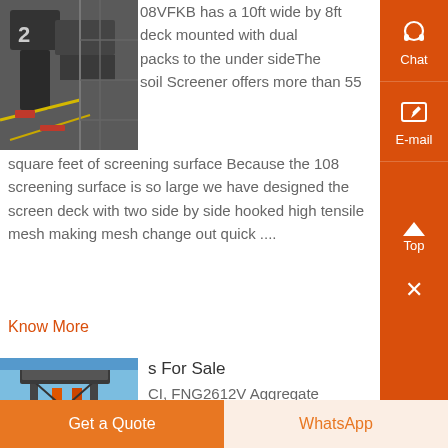[Figure (photo): Industrial soil screener/vibrating screen machinery with yellow and red components, industrial setting]
08VFKB has a 10ft wide by 8ft deck mounted with dual packs to the under sideThe soil Screener offers more than 55 square feet of screening surface Because the 108 screening surface is so large we have designed the screen deck with two side by side hooked high tensile mesh making mesh change out quick ....
Know More
[Figure (photo): Industrial aggregate screening machine/vibrating screen on tall metal frame structure, blue sky background]
s For Sale
CI, FNG2612V Aggregate - Screen, One 1 2612V double Vibe® dual-frequency screen 6 x